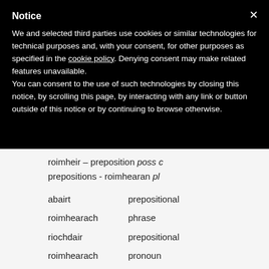Notice
We and selected third parties use cookies or similar technologies for technical purposes and, with your consent, for other purposes as specified in the cookie policy. Denying consent may make related features unavailable.
You can consent to the use of such technologies by closing this notice, by scrolling this page, by interacting with any link or button outside of this notice or by continuing to browse otherwise.
roimheir – preposition poss c
prepositions - roimhearan pl
| abairt | prepositional |
| roimhearach | phrase |
| riochdair | prepositional |
| roimhearach | pronoun |
| roimhear + | preposition + |
| suidheachadh | possessive case |